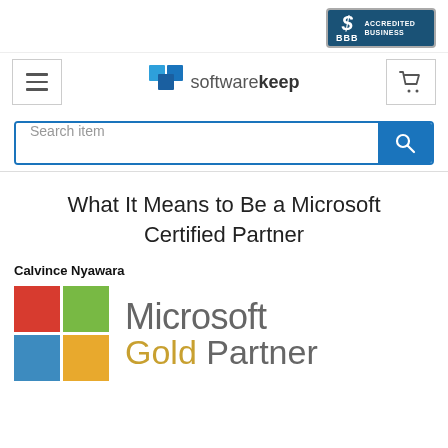[Figure (logo): BBB Accredited Business badge - dark blue badge with dollar sign, BBB text, and 'Accredited Business' text in white]
[Figure (logo): SoftwareKeep logo with two blue overlapping squares and 'softwarekeep' text, hamburger menu icon on left, shopping cart icon on right]
[Figure (screenshot): Search bar with 'Search item' placeholder text and blue search button with magnifying glass icon]
What It Means to Be a Microsoft Certified Partner
Calvince Nyawara
[Figure (logo): Microsoft Gold Partner logo with four colored squares (red, green, blue, yellow) and 'Microsoft Gold Partner' text]